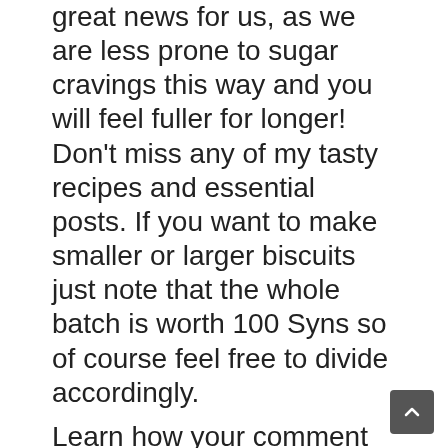great news for us, as we are less prone to sugar cravings this way and you will feel fuller for longer! Don't miss any of my tasty recipes and essential posts. If you want to make smaller or larger biscuits just note that the whole batch is worth 100 Syns so of course feel free to divide accordingly.
Learn how your comment data is processed. It doesn't need 12 whisked egg whites to rise…it's a proper … Your family and friends will beg for seconds. Half tbsp sweetener (I used Truvia) 1 sachet heaped teaspoon low fat drinking hot chocolate powder ( 1 syns) A few drops of vanilla essence . The dough makes up to 60 small biscuits at 1 Syn each. Low-Syn Slimming World Banana and Chocolate Chip Muffin Recipe Sometimes my sweet tooth is so difficult to curb, and sadly an Alpen bar or Hi-fi bar just won't cut it! There's something very satisfying about a cup of tea with a slice of buttered malt loaf - this simple, good-for-you version makes two and improves on keeping https://slimmingsurvival.com/blog/porridge-oat-biscuits-healthy-b Add all of the ingredients into a bowl and mix well. Bake … Hi,